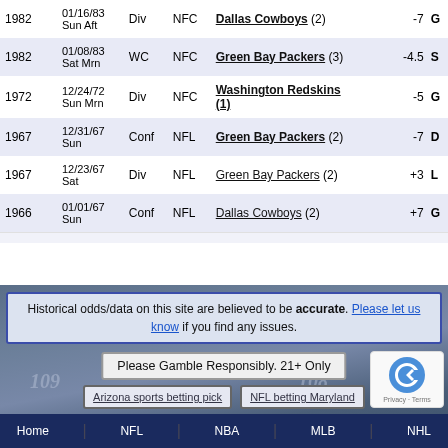| Year | Date | Round | League | Team | Spread | Result |
| --- | --- | --- | --- | --- | --- | --- |
| 1982 | 01/16/83
Sun Aft | Div | NFC | Dallas Cowboys (2) | -7 | G |
| 1982 | 01/08/83
Sat Mrn | WC | NFC | Green Bay Packers (3) | -4.5 | S |
| 1972 | 12/24/72
Sun Mrn | Div | NFC | Washington Redskins (1) | -5 | G |
| 1967 | 12/31/67
Sun | Conf | NFL | Green Bay Packers (2) | -7 | D |
| 1967 | 12/23/67
Sat | Div | NFL | Green Bay Packers (2) | +3 | L |
| 1966 | 01/01/67
Sun | Conf | NFL | Dallas Cowboys (2) | +7 | G |
Historical odds/data on this site are believed to be accurate. Please let us know if you find any issues.
Please Gamble Responsibly. 21+ Only
Arizona sports betting pick
NFL betting Maryland
Home   NFL   NBA   MLB   NHL